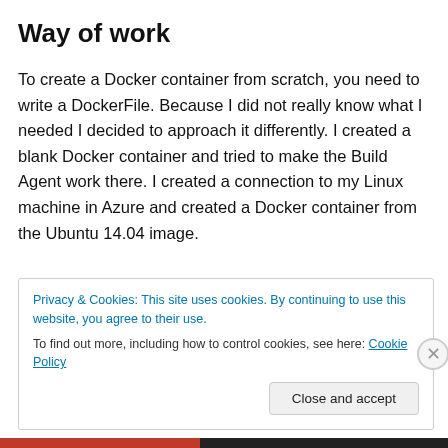Way of work
To create a Docker container from scratch, you need to write a DockerFile. Because I did not really know what I needed I decided to approach it differently. I created a blank Docker container and tried to make the Build Agent work there. I created a connection to my Linux machine in Azure and created a Docker container from the Ubuntu 14.04 image.
Privacy & Cookies: This site uses cookies. By continuing to use this website, you agree to their use.
To find out more, including how to control cookies, see here: Cookie Policy
Close and accept